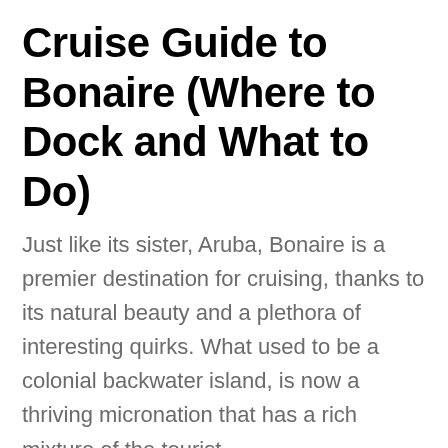Cruise Guide to Bonaire (Where to Dock and What to Do)
Just like its sister, Aruba, Bonaire is a premier destination for cruising, thanks to its natural beauty and a plethora of interesting quirks. What used to be a colonial backwater island, is now a thriving micronation that has a rich mixture of the tourist